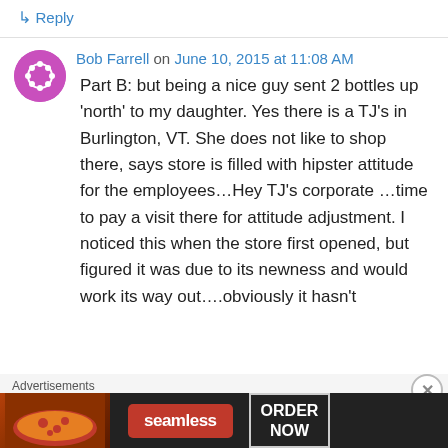↳ Reply
Bob Farrell on June 10, 2015 at 11:08 AM
Part B: but being a nice guy sent 2 bottles up 'north' to my daughter. Yes there is a TJ's in Burlington, VT. She does not like to shop there, says store is filled with hipster attitude for the employees…Hey TJ's corporate …time to pay a visit there for attitude adjustment. I noticed this when the store first opened, but figured it was due to its newness and would work its way out….obviously it hasn't
Advertisements
[Figure (other): Seamless food delivery advertisement banner with pizza image, Seamless logo and ORDER NOW button]